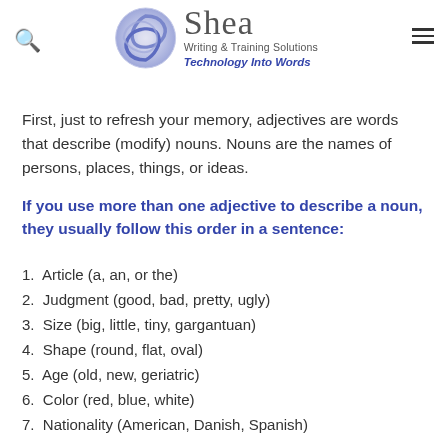Shea Writing & Training Solutions — Technology Into Words
First, just to refresh your memory, adjectives are words that describe (modify) nouns. Nouns are the names of persons, places, things, or ideas.
If you use more than one adjective to describe a noun, they usually follow this order in a sentence:
1. Article (a, an, or the)
2. Judgment (good, bad, pretty, ugly)
3. Size (big, little, tiny, gargantuan)
4. Shape (round, flat, oval)
5. Age (old, new, geriatric)
6. Color (red, blue, white)
7. Nationality (American, Danish, Spanish)
8. Material (wooden, plastic, steel, aluminum)
Let's write a sentence about buying a piece of furniture. The